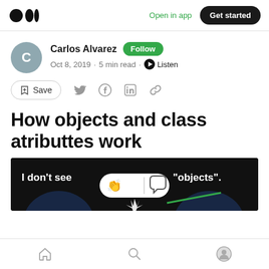Open in app  Get started
Carlos Alvarez  Follow
Oct 8, 2019 · 5 min read · Listen
Save
How objects and class atributtes work
[Figure (screenshot): Dark background image showing text 'I don’t see “objects”.' with a clapping and comment icon overlay in white rounded pill shape]
Home  Search  Profile